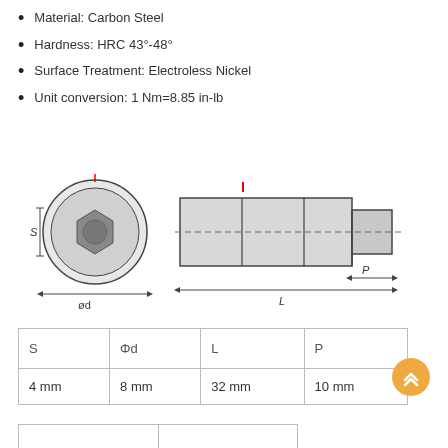Material: Carbon Steel
Hardness: HRC 43°-48°
Surface Treatment: Electroless Nickel
Unit conversion: 1 Nm=8.85 in-lb
[Figure (engineering-diagram): Engineering drawing of a ball-lock pin showing front circular view with hex socket and dimension labels S and ød, and side cross-section view showing cylindrical body with stepped end, dimension labels L and P, and a center dashed line.]
| S | Φd | L | P |
| --- | --- | --- | --- |
| 4 mm | 8 mm | 32 mm | 10 mm |